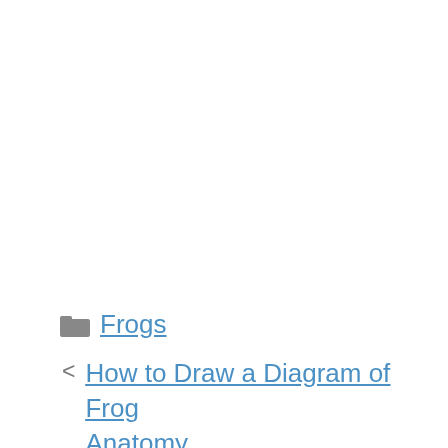📁 Frogs
< How to Draw a Diagram of Frog Anatomy
> Red Ladybug
Leave a Comment